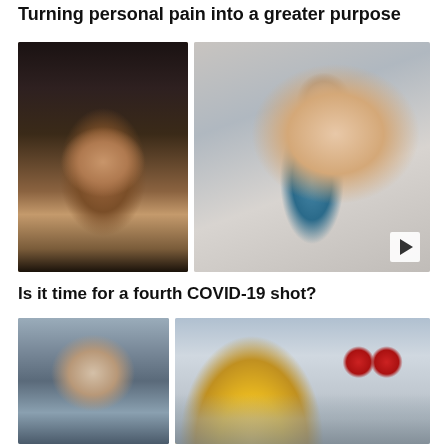Turning personal pain into a greater purpose
[Figure (photo): Two-panel image: left panel shows a man wearing headphones, right panel shows a hand holding a vaccine vial and syringe with a video play button overlay]
Is it time for a fourth COVID-19 shot?
[Figure (photo): Two-panel image: left panel shows a man's face, right panel shows students in masks near a yellow school bus]